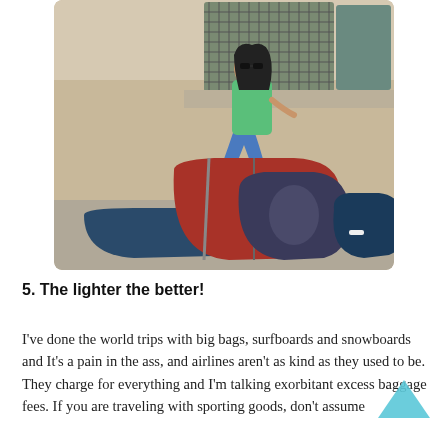[Figure (photo): A young woman with sunglasses wearing a green t-shirt and blue jeans, sitting on a ledge at what appears to be a station or terminal. She is surrounded by multiple large bags and backpacks on the floor, including a blue duffel, a large red and black bag, a large backpack, and a smaller blue backpack to the right.]
5. The lighter the better!
I've done the world trips with big bags, surfboards and snowboards and It's a pain in the ass, and airlines aren't as kind as they used to be. They charge for everything and I'm talking exorbitant excess baggage fees. If you are traveling with sporting goods, don't assume the airline will check-in for any extra item.